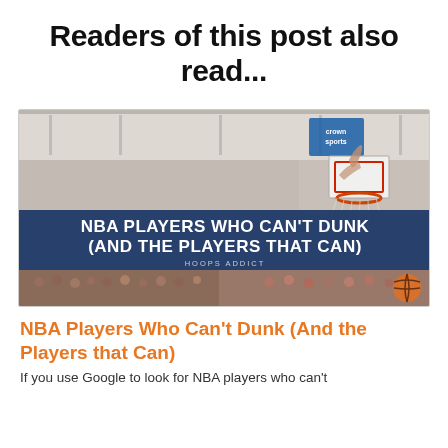Readers of this post also read...
[Figure (photo): Basketball court photo showing a player dunking, with a blue banner overlay reading 'NBA PLAYERS WHO CAN'T DUNK (AND THE PLAYERS THAT CAN)' and 'HOOPS ADDICT' subtitle. Crowd visible in background.]
NBA Players Who Can't Dunk (And the Players that Can)
If you use Google to look for NBA players who can't